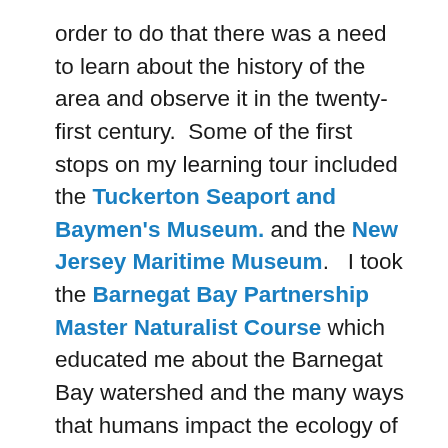order to do that there was a need to learn about the history of the area and observe it in the twenty-first century.  Some of the first stops on my learning tour included the Tuckerton Seaport and Baymen's Museum. and the New Jersey Maritime Museum.   I took the Barnegat Bay Partnership Master Naturalist Course which educated me about the Barnegat Bay watershed and the many ways that humans impact the ecology of the bay.  Barnegat Bay had always been a source of oysters, crabs, clams and various species of fish.  The early natives, the Lenai Lenape, used to hunt and fish along the bay which was teeming with marine life.  The baymen